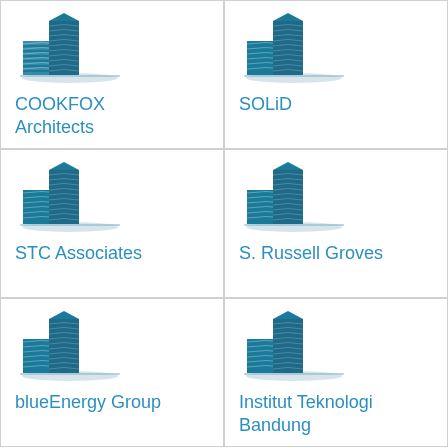[Figure (logo): Building icon for COOKFOX Architects]
COOKFOX Architects
[Figure (logo): Building icon for SOLiD]
SOLiD
[Figure (logo): Building icon for STC Associates]
STC Associates
[Figure (logo): Building icon for S. Russell Groves]
S. Russell Groves
[Figure (logo): Building icon for blueEnergy Group]
blueEnergy Group
[Figure (logo): Building icon for Institut Teknologi Bandung]
Institut Teknologi Bandung